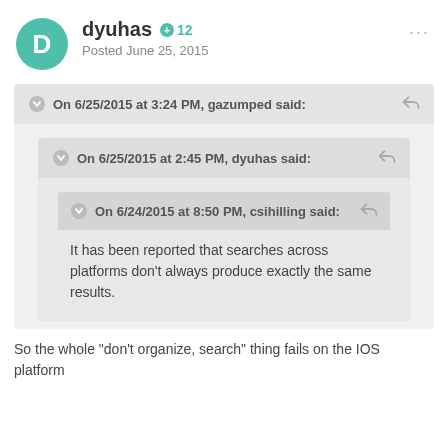dyuhas · +12 · Posted June 25, 2015
On 6/25/2015 at 3:24 PM, gazumped said:
On 6/25/2015 at 2:45 PM, dyuhas said:
On 6/24/2015 at 8:50 PM, csihilling said:
It has been reported that searches across platforms don't always produce exactly the same results.
So the whole "don't organize, search" thing fails on the IOS platform